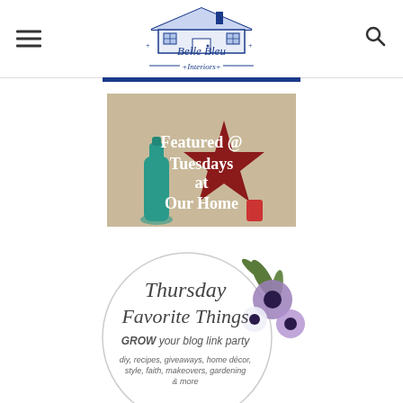[Figure (logo): Belle Bleu Interiors logo with illustrated house in navy blue and script text]
[Figure (illustration): Featured @ Tuesdays at Our Home banner image with teal bottle and red star]
[Figure (illustration): Thursday Favorite Things GROW your blog link party badge with floral decoration]